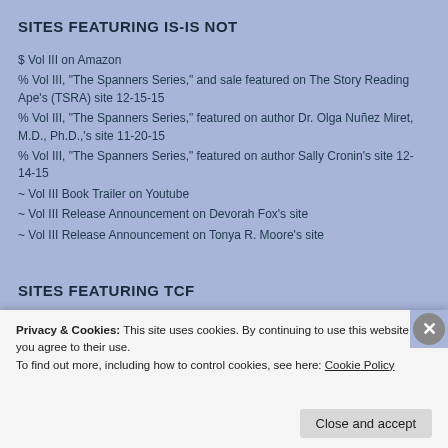SITES FEATURING IS-IS NOT
$ Vol III on Amazon
% Vol III, "The Spanners Series," and sale featured on The Story Reading Ape's (TSRA) site 12-15-15
% Vol III, "The Spanners Series," featured on author Dr. Olga Nuñez Miret, M.D., Ph.D.,'s site 11-20-15
% Vol III, "The Spanners Series," featured on author Sally Cronin's site 12-14-15
~ Vol III Book Trailer on Youtube
~ Vol III Release Announcement on Devorah Fox's site
~ Vol III Release Announcement on Tonya R. Moore's site
SITES FEATURING TCF
Privacy & Cookies: This site uses cookies. By continuing to use this website, you agree to their use. To find out more, including how to control cookies, see here: Cookie Policy
Close and accept